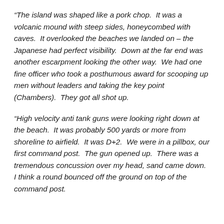“The island was shaped like a pork chop.  It was a volcanic mound with steep sides, honeycombed with caves.  It overlooked the beaches we landed on – the Japanese had perfect visibility.  Down at the far end was another escarpment looking the other way.  We had one fine officer who took a posthumous award for scooping up men without leaders and taking the key point (Chambers).  They got all shot up.
“High velocity anti tank guns were looking right down at the beach.  It was probably 500 yards or more from shoreline to airfield.  It was D+2.  We were in a pillbox, our first command post.  The gun opened up.  There was a tremendous concussion over my head, sand came down.  I think a round bounced off the ground on top of the command post.